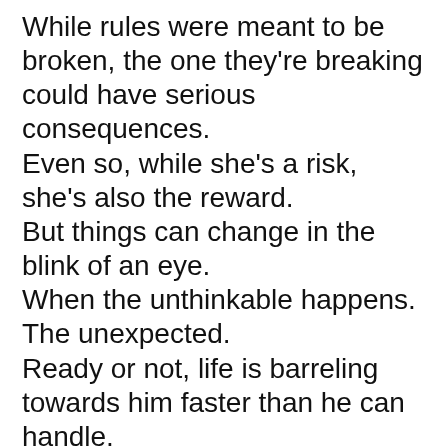While rules were meant to be broken, the one they're breaking could have serious consequences.
Even so, while she's a risk, she's also the reward.
But things can change in the blink of an eye.
When the unthinkable happens.
The unexpected.
Ready or not, life is barreling towards him faster than he can handle.
All he can do is hang on for the ride and hope, in the end, he survives.
Note: Blood & Bones: Easy is the twelfth book in the Blood Fury MC series. As always, this story has no cheating, no cliffhanger, and has an HEA. It's HIGHLY recommended to read